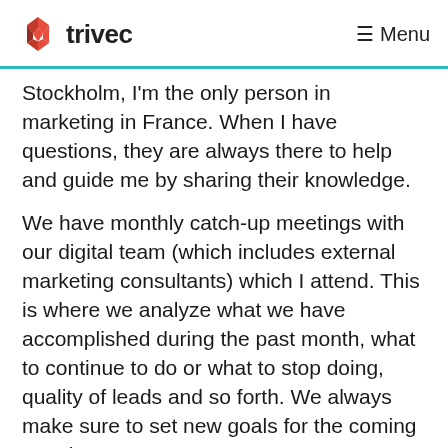trivec   ☰ Menu
Stockholm, I'm the only person in marketing in France. When I have questions, they are always there to help and guide me by sharing their knowledge.
We have monthly catch-up meetings with our digital team (which includes external marketing consultants) which I attend. This is where we analyze what we have accomplished during the past month, what to continue to do or what to stop doing, quality of leads and so forth. We always make sure to set new goals for the coming month.